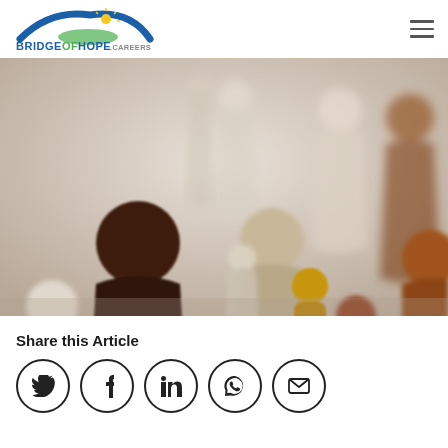[Figure (logo): BridgeOfHope.careers logo with blue arch and green/yellow sun graphic above the text]
[Figure (photo): Wooden peg doll figures of various heights, shapes, and colors (dark brown, cream, tan, yellow, medium brown) arranged on a light grey surface, representing diversity]
Share this Article
[Figure (infographic): Row of five social share icon circles: Twitter (bird), Facebook (f), LinkedIn (in), WhatsApp (phone), Email (envelope)]